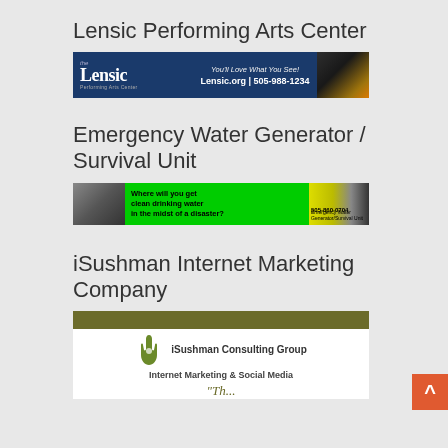Lensic Performing Arts Center
[Figure (illustration): Lensic Performing Arts Center banner ad: dark blue background with 'the Lensic Performing Arts Center' logo on the left, center text 'You’ll Love What You See! Lensic.org | 505-988-1234', and a night photo of the theater on the right.]
Emergency Water Generator / Survival Unit
[Figure (illustration): Emergency Water Generator / Survival Unit banner ad: green background, left side shows disaster rubble photo, center text 'Where will you get clean drinking water in the midst of a disaster? 505-860-0704 Emergency Water Generator/Survival Unit', right side shows equipment photo.]
iSushman Internet Marketing Company
[Figure (illustration): iSushman Consulting Group banner ad: olive-green header bar, white body with a green hand logo, 'iSushman Consulting Group', 'Internet Marketing & Social Media', and italic quote beginning with curly quotes.]